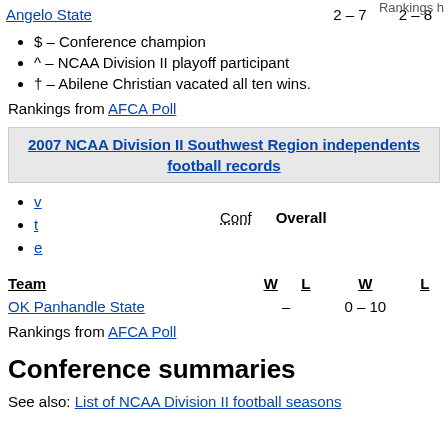Rankings h...
Angelo State   2 – 7   2 – 8
$ – Conference champion
^ – NCAA Division II playoff participant
† – Abilene Christian vacated all ten wins.
Rankings from AFCA Poll
2007 NCAA Division II Southwest Region independents football records
v
t
e
Conf   Overall
| Team | W | L | W | L |
| --- | --- | --- | --- | --- |
| OK Panhandle State | – |  | 0 | – | 10 |
Rankings from AFCA Poll
Conference summaries
See also: List of NCAA Division II football seasons